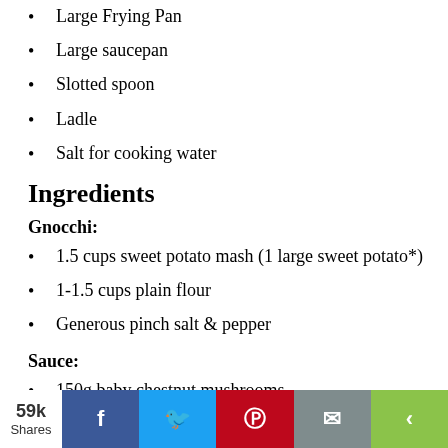Large Frying Pan
Large saucepan
Slotted spoon
Ladle
Salt for cooking water
Ingredients
Gnocchi:
1.5 cups sweet potato mash (1 large sweet potato*)
1-1.5 cups plain flour
Generous pinch salt & pepper
Sauce:
150g baby chestnut mushrooms
1/2 cup cashew nuts